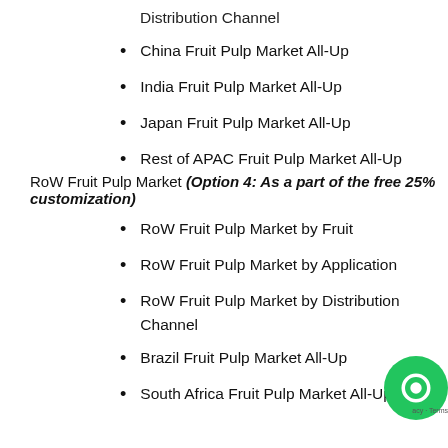Distribution Channel
China Fruit Pulp Market All-Up
India Fruit Pulp Market All-Up
Japan Fruit Pulp Market All-Up
Rest of APAC Fruit Pulp Market All-Up
RoW Fruit Pulp Market (Option 4: As a part of the free 25% customization)
RoW Fruit Pulp Market by Fruit
RoW Fruit Pulp Market by Application
RoW Fruit Pulp Market by Distribution Channel
Brazil Fruit Pulp Market All-Up
South Africa Fruit Pulp Market All-Up